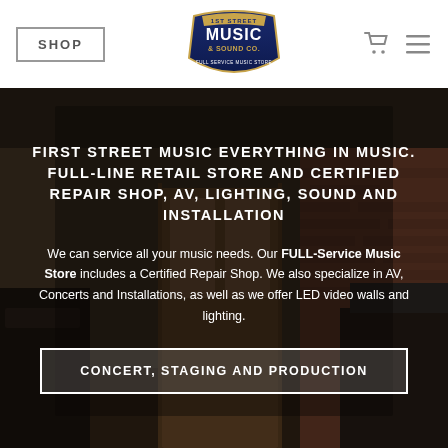SHOP | 1st Street Music & Sound Co. | [cart icon] [menu icon]
[Figure (photo): Interior of a music store with pianos, brick walls, wooden doors, and store displays. Dark moody lighting.]
FIRST STREET MUSIC EVERYTHING IN MUSIC. FULL-LINE RETAIL STORE AND CERTIFIED REPAIR SHOP, AV, LIGHTING, SOUND AND INSTALLATION
We can service all your music needs. Our FULL-Service Music Store includes a Certified Repair Shop. We also specialize in AV, Concerts and Installations, as well as we offer LED video walls and lighting.
CONCERT, STAGING AND PRODUCTION